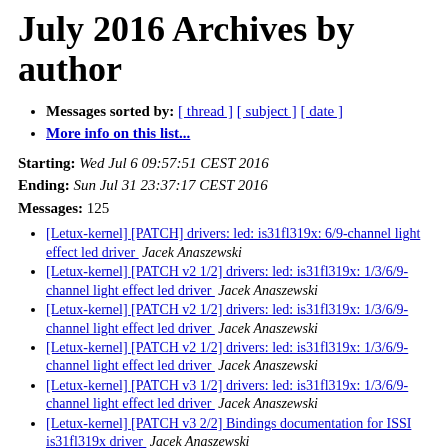July 2016 Archives by author
Messages sorted by: [ thread ] [ subject ] [ date ]
More info on this list...
Starting: Wed Jul 6 09:57:51 CEST 2016
Ending: Sun Jul 31 23:37:17 CEST 2016
Messages: 125
[Letux-kernel] [PATCH] drivers: led: is31fl319x: 6/9-channel light effect led driver   Jacek Anaszewski
[Letux-kernel] [PATCH v2 1/2] drivers: led: is31fl319x: 1/3/6/9-channel light effect led driver   Jacek Anaszewski
[Letux-kernel] [PATCH v2 1/2] drivers: led: is31fl319x: 1/3/6/9-channel light effect led driver   Jacek Anaszewski
[Letux-kernel] [PATCH v2 1/2] drivers: led: is31fl319x: 1/3/6/9-channel light effect led driver   Jacek Anaszewski
[Letux-kernel] [PATCH v3 1/2] drivers: led: is31fl319x: 1/3/6/9-channel light effect led driver   Jacek Anaszewski
[Letux-kernel] [PATCH v3 2/2] Bindings documentation for ISSI is31fl319x driver   Jacek Anaszewski
[Letux-kernel] [PATCH v3 1/2] drivers: led: is31fl319x: 1/3/6/9-channel light effect led driver   Jacek Anaszewski
[Letux-kernel] [PATCH v2 1/2] drivers: led: is31fl319x: